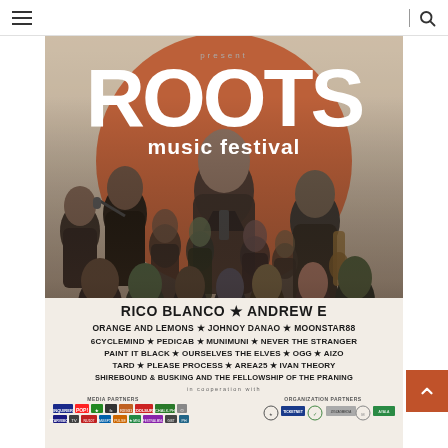≡ | 🔍
[Figure (illustration): Roots Music Festival promotional poster. Features the large word ROOTS at top in white bold text, subtitle 'music festival' in white, a large orange circle in the background, and a photo collage of multiple band members and artists. Below the photos are artist lineup names including Rico Blanco, Andrew E, Orange and Lemons, Johnoy Danao, Moonstar88, 6Cyclemind, Pedicab, Munimuni, Never the Stranger, Paint It Black, Ourselves the Elves, OGG, AIZO, Tard, Please Process, Area25, Ivan Theory, Shirebound & Busking and the Fellowship of the Praning. Media partners and organization partners logos appear at the bottom.]